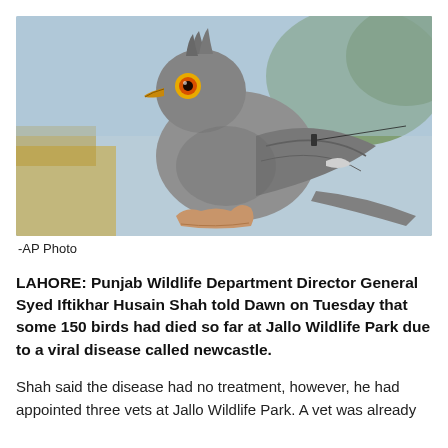[Figure (photo): A grey bird (cuckoo) with a yellow beak and orange eye with yellow ring, being held in a human hand, with blurred green and brown background.]
-AP Photo
LAHORE: Punjab Wildlife Department Director General Syed Iftikhar Husain Shah told Dawn on Tuesday that some 150 birds had died so far at Jallo Wildlife Park due to a viral disease called newcastle.
Shah said the disease had no treatment, however, he had appointed three vets at Jallo Wildlife Park. A vet was already